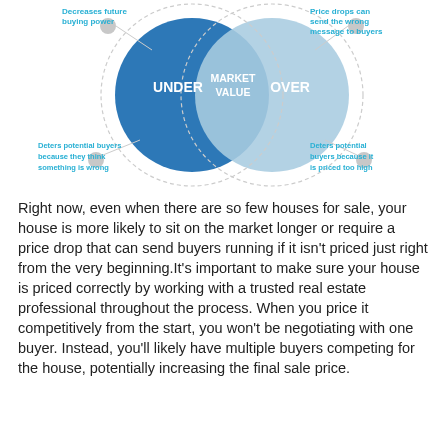[Figure (infographic): Venn diagram showing three pricing zones: UNDER (dark blue circle, left), MARKET VALUE (overlap, white text center), OVER (light blue circle, right). Four grey connector circles at corners with cyan text labels: top-left 'Decreases future buying power', bottom-left 'Deters potential buyers because they think something is wrong', top-right 'Price drops can send the wrong message to buyers', bottom-right 'Deters potential buyers because it is priced too high'.]
Right now, even when there are so few houses for sale, your house is more likely to sit on the market longer or require a price drop that can send buyers running if it isn't priced just right from the very beginning.It's important to make sure your house is priced correctly by working with a trusted real estate professional throughout the process. When you price it competitively from the start, you won't be negotiating with one buyer. Instead, you'll likely have multiple buyers competing for the house, potentially increasing the final sale price.